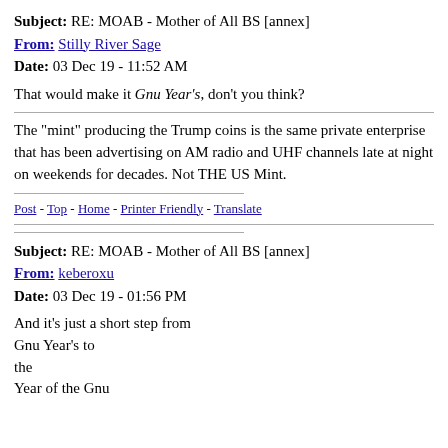Subject: RE: MOAB - Mother of All BS [annex]
From: Stilly River Sage
Date: 03 Dec 19 - 11:52 AM
That would make it Gnu Year's, don't you think?
The "mint" producing the Trump coins is the same private enterprise that has been advertising on AM radio and UHF channels late at night on weekends for decades. Not THE US Mint.
Post - Top - Home - Printer Friendly - Translate
Subject: RE: MOAB - Mother of All BS [annex]
From: keberoxu
Date: 03 Dec 19 - 01:56 PM
And it's just a short step from
Gnu Year's to
the
Year of the Gnu